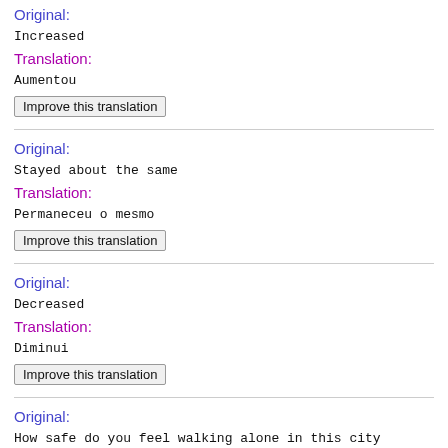Original:
Increased
Translation:
Aumentou
Improve this translation
Original:
Stayed about the same
Translation:
Permaneceu o mesmo
Improve this translation
Original:
Decreased
Translation:
Diminui
Improve this translation
Original:
How safe do you feel walking alone in this city during the daylight?
Translation:
Que nivel de seguranca sente ao caminhar sozinho